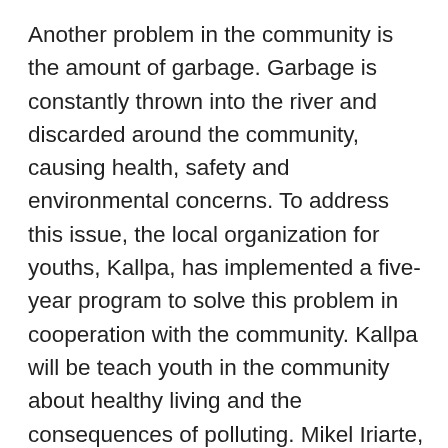Another problem in the community is the amount of garbage. Garbage is constantly thrown into the river and discarded around the community, causing health, safety and environmental concerns. To address this issue, the local organization for youths, Kallpa, has implemented a five- year program to solve this problem in cooperation with the community. Kallpa will be teach youth in the community about healthy living and the consequences of polluting. Mikel Iriarte, one of the trip leaders and a film student, had the idea to make a stop motion video with the children as a means to encourage recycling.The children of the community were always eager to play, and